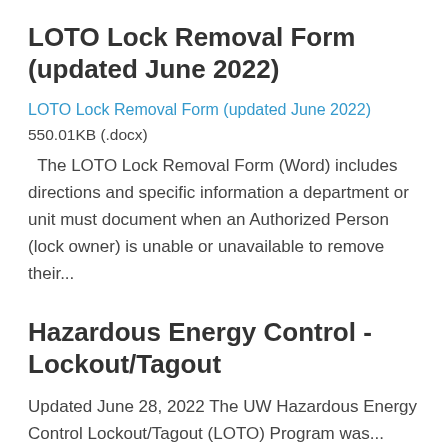LOTO Lock Removal Form (updated June 2022)
LOTO Lock Removal Form (updated June 2022)
550.01KB (.docx)
The LOTO Lock Removal Form (Word) includes directions and specific information a department or unit must document when an Authorized Person (lock owner) is unable or unavailable to remove their...
Hazardous Energy Control - Lockout/Tagout
Updated June 28, 2022 The UW Hazardous Energy Control Lockout/Tagout (LOTO) Program was...